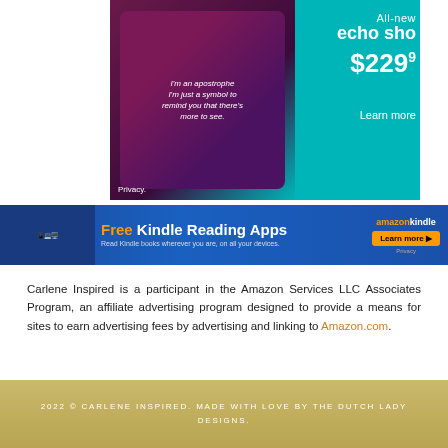[Figure (screenshot): Amazon Echo Show advertisement showing the device with teal background, price $229.99, and 'Learn more' button]
[Figure (screenshot): Amazon Kindle Reading Apps banner advertisement with orange and blue design showing Free Kindle Reading Apps]
Carlene Inspired is a participant in the Amazon Services LLC Associates Program, an affiliate advertising program designed to provide a means for sites to earn advertising fees by advertising and linking to Amazon.com.
2022 © CARLENE INSPIRED. MADE WITH LOVE BY THE DUTCH LADY DESIGNS.